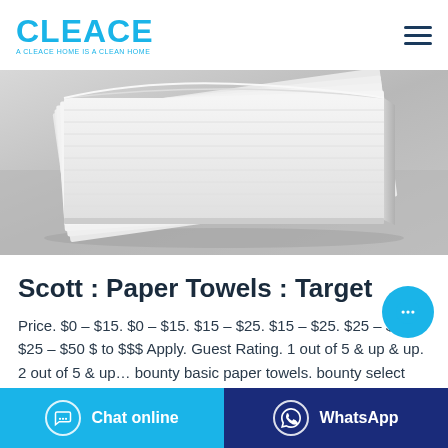CLEACE — A CLEACE HOME IS A CLEAN HOME
[Figure (photo): Stack of white paper towels/napkins fanned out on a gray surface]
Scott : Paper Towels : Target
Price. $0 – $15. $0 – $15. $15 – $25. $15 – $25. $25 – $50. $25 – $50 $ to $$$ Apply. Guest Rating. 1 out of 5 & up & up. 2 out of 5 & up… bounty basic paper towels. bounty select
Chat online | WhatsApp